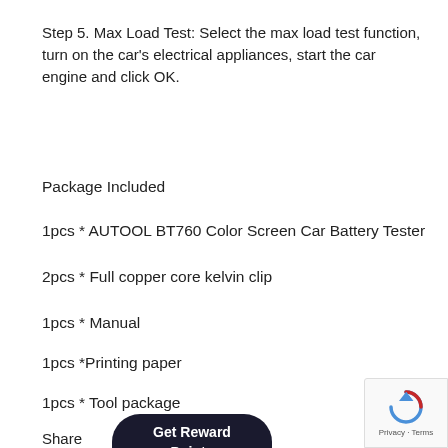Step 5. Max Load Test: Select the max load test function, turn on the car's electrical appliances, start the car engine and click OK.
Package Included
1pcs * AUTOOL BT760 Color Screen Car Battery Tester
2pcs * Full copper core kelvin clip
1pcs * Manual
1pcs *Printing paper
1pcs * Tool package
Share
[Figure (other): Get Reward Points button overlay]
[Figure (other): reCAPTCHA privacy badge with recycle-arrow logo, Privacy · Terms text]